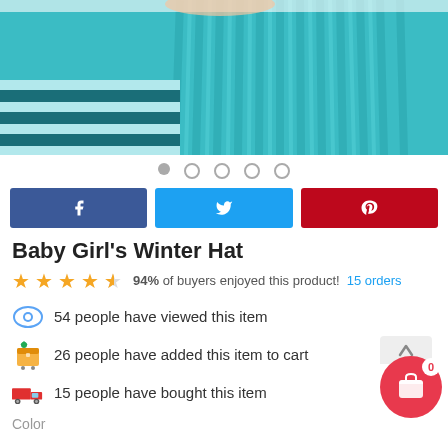[Figure (photo): Close-up photo of a baby wearing a teal/turquoise chunky knit winter hat and striped scarf]
● ○ ○ ○ ○ (carousel dots)
[Figure (infographic): Social share buttons: Facebook (blue), Twitter (light blue), Pinterest (red)]
Baby Girl's Winter Hat
★★★★☆ 94% of buyers enjoyed this product! 15 orders
54 people have viewed this item
26 people have added this item to cart
15 people have bought this item
Color